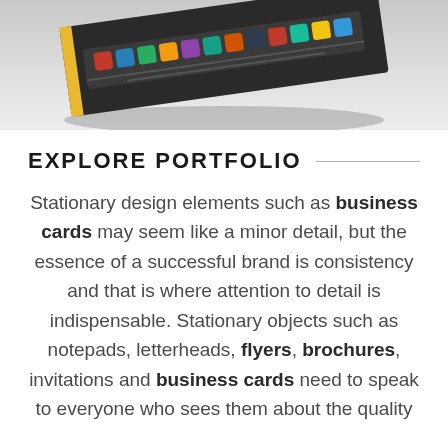[Figure (photo): Partial view of a business card or stationery item on a gray background, shown at an angle from above]
EXPLORE PORTFOLIO
Stationary design elements such as business cards may seem like a minor detail, but the essence of a successful brand is consistency and that is where attention to detail is indispensable. Stationary objects such as notepads, letterheads, flyers, brochures, invitations and business cards need to speak to everyone who sees them about the quality